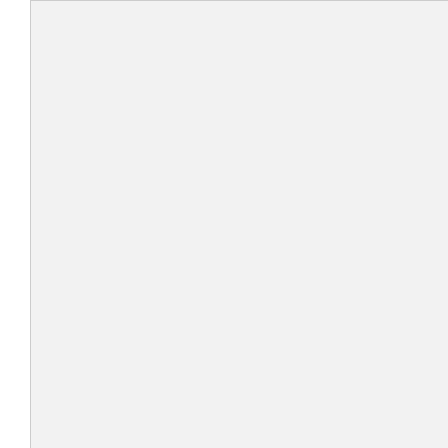[Figure (other): Gray rectangular panel on the left side of the page]
zepool wouldnt go to the military. i